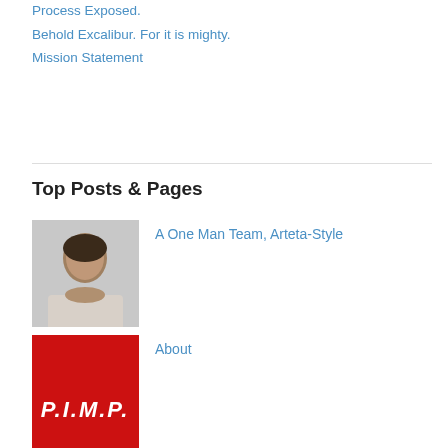Process Exposed.
Behold Excalibur. For it is mighty.
Mission Statement
Top Posts & Pages
[Figure (photo): Headshot of a man with dark hair against a light gray background]
A One Man Team, Arteta-Style
[Figure (logo): Red square with white italic text reading P.I.M.P.]
About
[Figure (photo): Photo of a woman and man outdoors, woman in red top]
What Xavi and Coquelin Teach Us About Scanning For Space